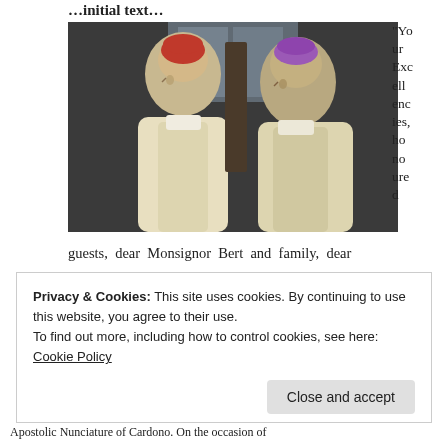…initial text…
[Figure (photo): Two Catholic clergy in liturgical vestments — one wearing a red zucchetto (cardinal) on the left, one wearing a purple zucchetto (bishop) on the right, side profile view in a church setting.]
“Your Excellencies, honoured guests, dear Monsignor Bert and family, dear
Privacy & Cookies: This site uses cookies. By continuing to use this website, you agree to their use.
To find out more, including how to control cookies, see here: Cookie Policy
Close and accept
1
Apostolic Nunciature of Cardono. On the occasion of